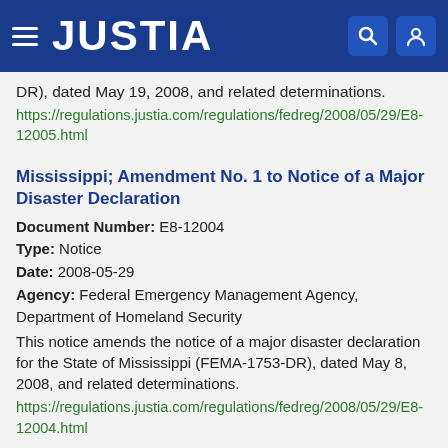JUSTIA
DR), dated May 19, 2008, and related determinations.
https://regulations.justia.com/regulations/fedreg/2008/05/29/E8-12005.html
Mississippi; Amendment No. 1 to Notice of a Major Disaster Declaration
Document Number: E8-12004
Type: Notice
Date: 2008-05-29
Agency: Federal Emergency Management Agency, Department of Homeland Security
This notice amends the notice of a major disaster declaration for the State of Mississippi (FEMA-1753-DR), dated May 8, 2008, and related determinations.
https://regulations.justia.com/regulations/fedreg/2008/05/29/E8-12004.html